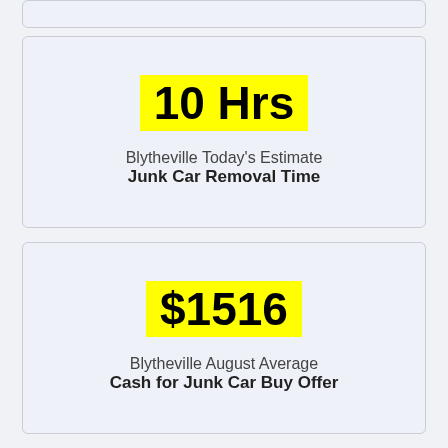10 Hrs
Blytheville Today's Estimate
Junk Car Removal Time
$1516
Blytheville August Average
Cash for Junk Car Buy Offer